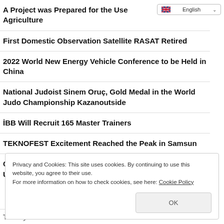A Project was Prepared for the Use … Agriculture
First Domestic Observation Satellite RASAT Retired
2022 World New Energy Vehicle Conference to be Held in China
National Judoist Sinem Oruç, Gold Medal in the World Judo Championship Kazanoutside
İBB Will Recruit 165 Master Trainers
TEKNOFEST Excitement Reached the Peak in Samsun
Camping Enjoyment of the Scouts on the Skirts of Uludağ
Privacy and Cookies: This site uses cookies. By continuing to use this website, you agree to their use.
For more information on how to check cookies, see here: Cookie Policy
OK
Turkey Builds Airlift for Flood Aid to Pakistan